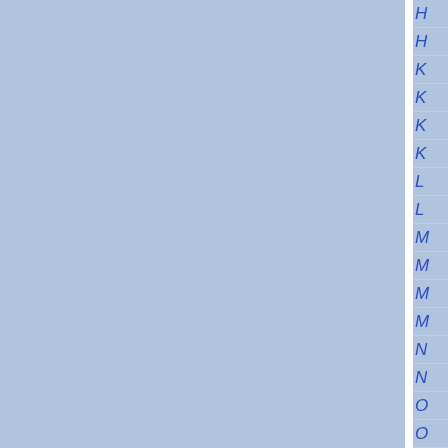[Figure (other): Index navigation panel on right side showing alphabetical italic letter entries (H, H, K, K, K, K, L, L, M, M, M, M, N, N, O, O) in blue italic text on a light blue background, with white vertical divider separating main content area]
H
H
K
K
K
K
L
L
M
M
M
M
N
N
O
O